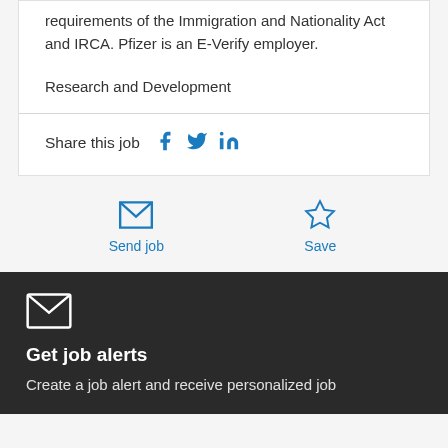requirements of the Immigration and Nationality Act and IRCA. Pfizer is an E-Verify employer.
Research and Development
Share this job
Send job
Save
Get job alerts
Create a job alert and receive personalized job